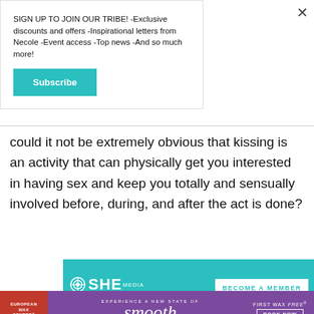SIGN UP TO JOIN OUR TRIBE! -Exclusive discounts and offers -Inspirational letters from Necole -Event access -Top news -And so much more!
Subscribe
could it not be extremely obvious that kissing is an activity that can physically get you interested in having sex and keep you totally and sensually involved before, during, and after the act is done?
[Figure (other): SHE Media Partner Network advertisement with teal background showing 'BECOME A MEMBER' button and a partial photo of a woman wearing glasses]
[Figure (other): European Wax Center advertisement with purple and red background, showing 'smooth' text and 'FIRST WAX free BOOK NOW' call-to-action]